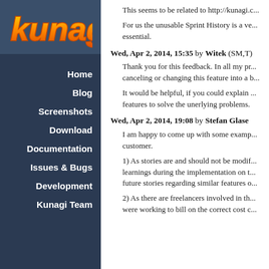[Figure (logo): Kunagi logo with orange/yellow stylized text on dark blue background]
Home
Blog
Screenshots
Download
Documentation
Issues & Bugs
Development
Kunagi Team
This seems to be related to http://kunagi.c...
For us the unusable Sprint History is a ve... essential.
Wed, Apr 2, 2014, 15:35 by Witek (SM,T)
Thank you for this feedback. In all my pr... canceling or changing this feature into a b...
It would be helpful, if you could explain ... features to solve the unerlying problems.
Wed, Apr 2, 2014, 19:08 by Stefan Glase
I am happy to come up with some examp... customer.
1) As stories are and should not be modif... learnings during the implementation on t... future stories regarding similar features o...
2) As there are freelancers involved in th... were working to bill on the correct cost c...